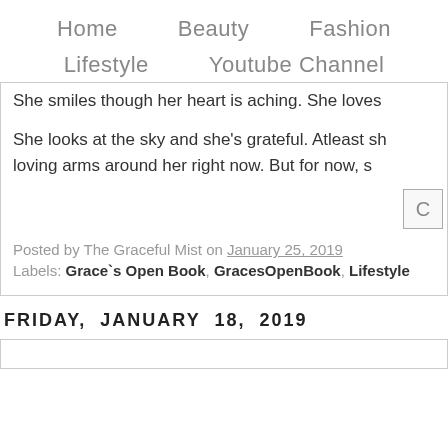Home   Beauty   Fashion
Lifestyle   Youtube Channel
She smiles though her heart is aching. She loves
She looks at the sky and she's grateful. Atleast sh loving arms around her right now. But for now, s
Posted by The Graceful Mist on January 25, 2019
Labels: Grace`s Open Book, GracesOpenBook, Lifestyle
FRIDAY, JANUARY 18, 2019